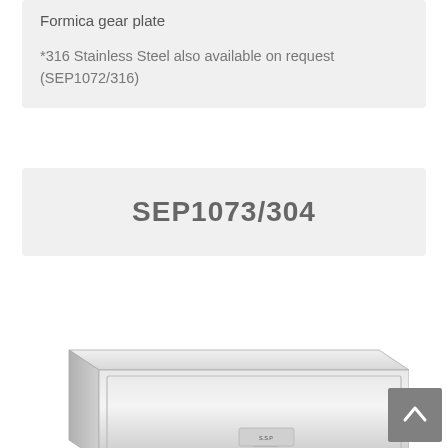Formica gear plate
*316 Stainless Steel also available on request (SEP1072/316)
SEP1073/304
[Figure (photo): Stainless steel enclosure box, rectangular, brushed finish, with a small label/badge visible on the front face. A scroll-to-top button is visible in the bottom-right corner.]